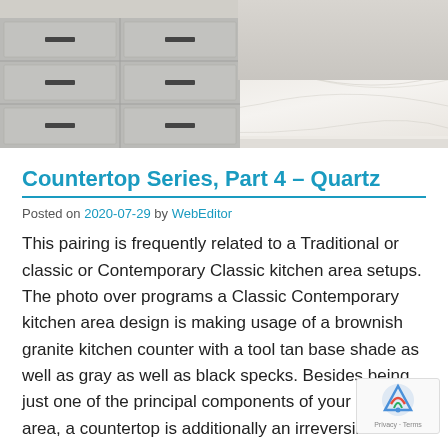[Figure (photo): Photo of a white marble countertop with gray cabinetry below, showing drawers with dark handles]
Countertop Series, Part 4 – Quartz
Posted on 2020-07-29 by WebEditor
This pairing is frequently related to a Traditional or classic or Contemporary Classic kitchen area setups. The photo over programs a Classic Contemporary kitchen area design is making usage of a brownish granite kitchen counter with a tool tan base shade as well as gray as well as black specks. Besides being just one of the principal components of your cooking area, a countertop is additionally an irreversible component in your house, which requires to stand the examination of time. When it is time to add this material to your house, one design advantage in working with this kind of product is the range of colors to select from. Use a soft fabric to use the